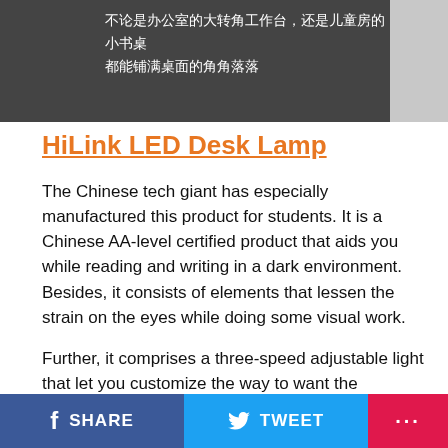[Figure (photo): Dark background product image with Chinese text: 不论是办公室的大转角工作台，还是儿童房的小书桌 都能铺满桌面的角角落落]
HiLink LED Desk Lamp
The Chinese tech giant has especially manufactured this product for students. It is a Chinese AA-level certified product that aids you while reading and writing in a dark environment. Besides, it consists of elements that lessen the strain on the eyes while doing some visual work.
Further, it comprises a three-speed adjustable light that let you customize the way to want the brightness in your surrounding. There is also an all-match clock and a smart clock display for showcasing the date and time.
Aside from these segments, the device also supports
SHARE   TWEET   ...